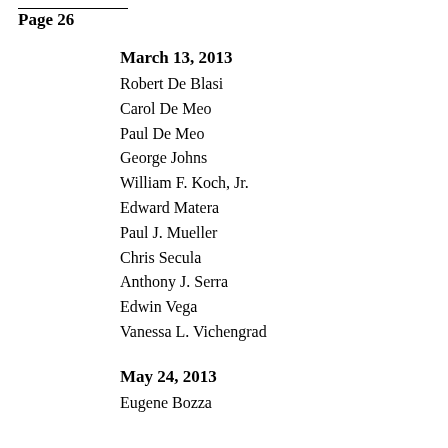Page 26
March 13, 2013
Robert De Blasi
Carol De Meo
Paul De Meo
George Johns
William F. Koch, Jr.
Edward Matera
Paul J. Mueller
Chris Secula
Anthony J. Serra
Edwin Vega
Vanessa L. Vichengrad
May 24, 2013
Eugene Bozza